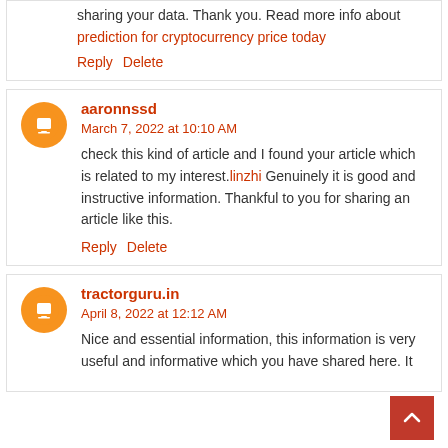sharing your data. Thank you. Read more info about prediction for cryptocurrency price today
Reply   Delete
aaronnssd
March 7, 2022 at 10:10 AM
check this kind of article and I found your article which is related to my interest.linzhi Genuinely it is good and instructive information. Thankful to you for sharing an article like this.
Reply   Delete
tractorguru.in
April 8, 2022 at 12:12 AM
Nice and essential information, this information is very useful and informative which you have shared here. It